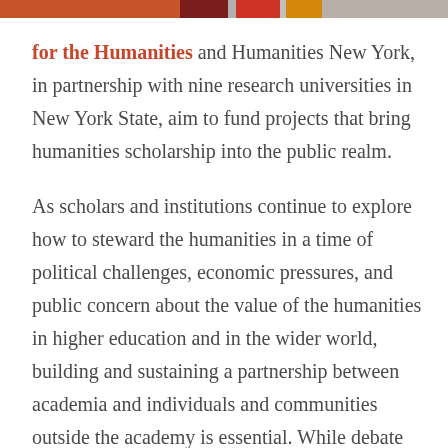[Figure (other): Decorative header bar with colored segments: orange, dark red, gray, red, gray, amber, and light gray]
for the Humanities and Humanities New York, in partnership with nine research universities in New York State, aim to fund projects that bring humanities scholarship into the public realm.
As scholars and institutions continue to explore how to steward the humanities in a time of political challenges, economic pressures, and public concern about the value of the humanities in higher education and in the wider world, building and sustaining a partnership between academia and individuals and communities outside the academy is essential. While debate continues around how to engage with the public and still maintain academic rigor in the field, humanities scholars working in the public realm